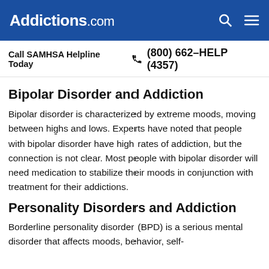Addictions.com
Call SAMHSA Helpline Today  (800) 662-HELP (4357)
Bipolar Disorder and Addiction
Bipolar disorder is characterized by extreme moods, moving between highs and lows. Experts have noted that people with bipolar disorder have high rates of addiction, but the connection is not clear. Most people with bipolar disorder will need medication to stabilize their moods in conjunction with treatment for their addictions.
Personality Disorders and Addiction
Borderline personality disorder (BPD) is a serious mental disorder that affects moods, behavior, self-